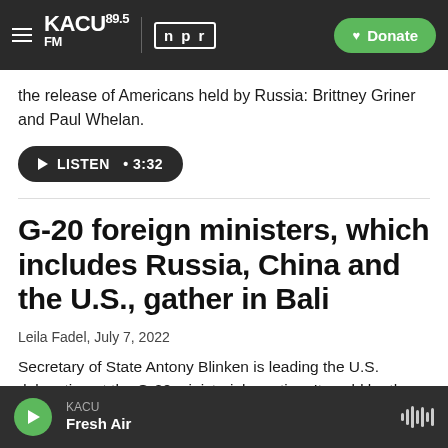KACU 89.5FM | NPR | Donate
the release of Americans held by Russia: Brittney Griner and Paul Whelan.
LISTEN · 3:32
G-20 foreign ministers, which includes Russia, China and the U.S., gather in Bali
Leila Fadel, July 7, 2022
Secretary of State Antony Blinken is leading the U.S. delegation at the G-20 ministerial meeting. It could be the scene of some awkward diplomatic
KACU | Fresh Air